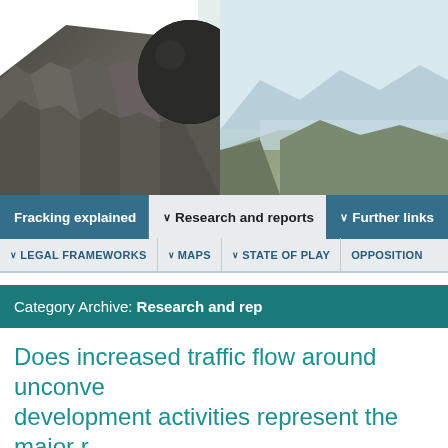[Figure (photo): Landscape photo showing rocky columnar basalt formations with a large dark boulder on top, and mountain/water scenery in the background]
Fracking explained | ∨ Research and reports | ∨ Further links
∨ LEGAL FRAMEWORKS | ∨ MAPS | ∨ STATE OF PLAY | OPPOSITION
Category Archive: Research and reports
Does increased traffic flow around unconventional development activities represent the major risk to neighboring communities? [truncated]
Environmental impacts, Health and social impacts